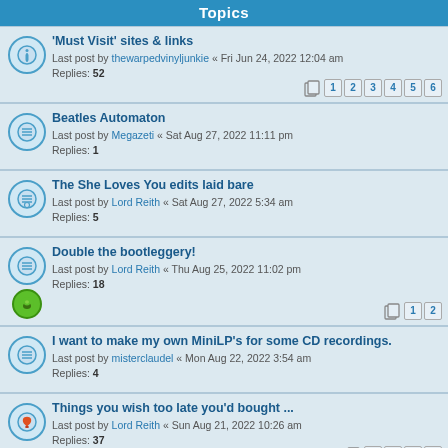Topics
'Must Visit' sites & links
Last post by thewarpedvinyljunkie « Fri Jun 24, 2022 12:04 am
Replies: 52
Pages: 1 2 3 4 5 6
Beatles Automaton
Last post by Megazeti « Sat Aug 27, 2022 11:11 pm
Replies: 1
The She Loves You edits laid bare
Last post by Lord Reith « Sat Aug 27, 2022 5:34 am
Replies: 5
Double the bootleggery!
Last post by Lord Reith « Thu Aug 25, 2022 11:02 pm
Replies: 18
Pages: 1 2
I want to make my own MiniLP's for some CD recordings.
Last post by misterclaudel « Mon Aug 22, 2022 3:54 am
Replies: 4
Things you wish too late you'd bought ...
Last post by Lord Reith « Sun Aug 21, 2022 10:26 am
Replies: 37
Pages: 1 2 3 4
The Beatles at Shea Stadium - the recording of
Last post by Rickenbacker325 « Sat Aug 20, 2022 4:03 am
Replies: 9
Radio Carolina 1964
Last post by mce1965 « Fri Aug 19, 2022 11:03 pm
Replies: 2